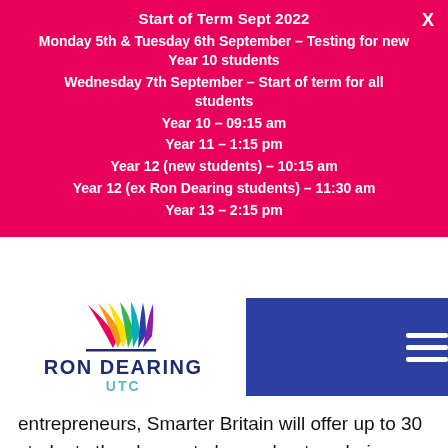Start of Term Sept 2022
Monday 5th & Tuesday 6th September – Testing for new Year 10 students
Wednesday 7th September – Start of term for all students
Year 10 – 09:15 am
Year 11 – 1:15 pm
Year 12 (new students) – 10:15 am
Year 12 (ex Ron Dearing students) – 11:30 am
Year 13 – 2:15 pm
[Figure (logo): Ron Dearing UTC logo with colourful wing design above the text RON DEARING UTC]
entrepreneurs, Smarter Britain will offer up to 30 students the chance to learn about exploring alternative careers, identifying commercial opportunities, creating businesses, problem solving and more.